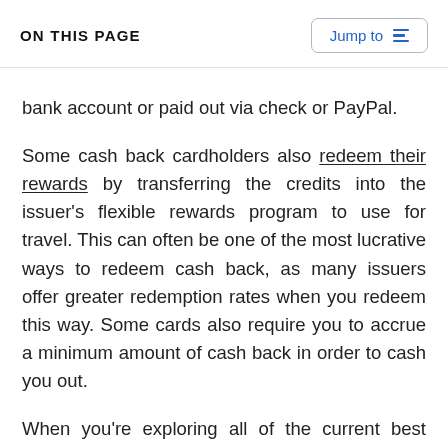ON THIS PAGE
bank account or paid out via check or PayPal.
Some cash back cardholders also redeem their rewards by transferring the credits into the issuer's flexible rewards program to use for travel. This can often be one of the most lucrative ways to redeem cash back, as many issuers offer greater redemption rates when you redeem this way. Some cards also require you to accrue a minimum amount of cash back in order to cash you out.
When you're exploring all of the current best cash